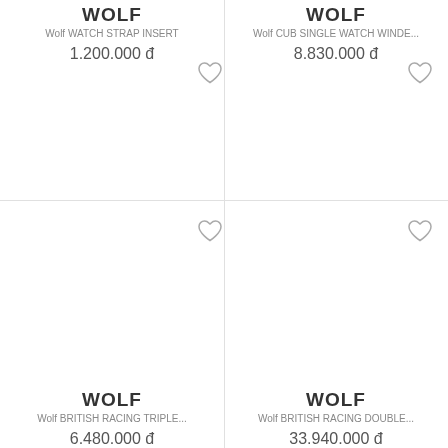WOLF
Wolf WATCH STRAP INSERT
1.200.000 đ
WOLF
Wolf CUB SINGLE WATCH WINDE...
8.830.000 đ
WOLF
Wolf BRITISH RACING TRIPLE...
6.480.000 đ
WOLF
Wolf BRITISH RACING DOUBLE...
33.940.000 đ